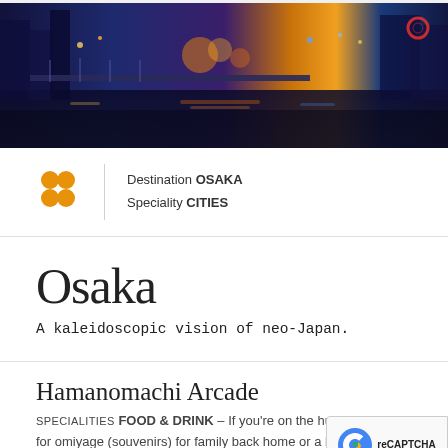[Figure (photo): Nighttime cityscape of Osaka waterfront/canal area with colorful lights reflecting on the water, elevated walkway/bridge visible, buildings lit up in blues, oranges, and purples.]
Destination OSAKA
Speciality CITIES
Osaka
A kaleidoscopic vision of neo-Japan.
Hamanomachi Arcade
SPECIALITIES FOOD & DRINK – If you're on the hunt for omiyage (souvenirs) for family back home or a bite to while in Nagasaki (or both), you'll want to...